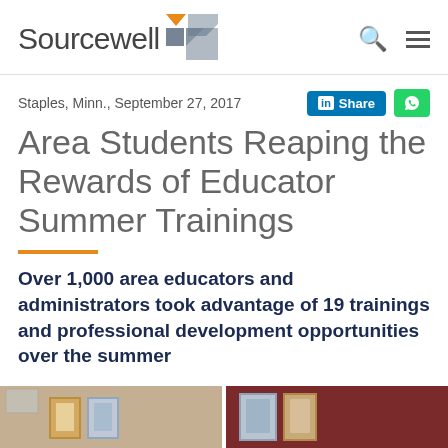Sourcewell
Staples, Minn., September 27, 2017
Area Students Reaping the Rewards of Educator Summer Trainings
Over 1,000 area educators and administrators took advantage of 19 trainings and professional development opportunities over the summer
[Figure (photo): Indoor room photo showing framed artwork on a dark red wall]